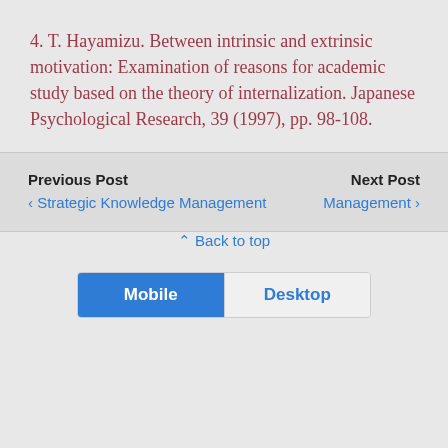4. T. Hayamizu. Between intrinsic and extrinsic motivation: Examination of reasons for academic study based on the theory of internalization. Japanese Psychological Research, 39 (1997), pp. 98-108.
Previous Post
Next Post
‹ Strategic Knowledge Management
Management ›
⌃ Back to top
Mobile
Desktop